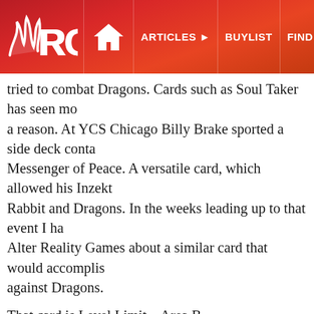ARG | ARTICLES | BUYLIST | FIND CARDS | EVENTS
tried to combat Dragons. Cards such as Soul Taker has seen mo... a reason. At YCS Chicago Billy Brake sported a side deck conta... Messenger of Peace. A versatile card, which allowed his Inzekt... Rabbit and Dragons. In the weeks leading up to that event I ha... Alter Reality Games about a similar card that would accomplis... against Dragons.
That card is Level Limit – Area B.
All face-up Level 4 or higher monsters on the field are in Defen... active.
Level Limit – Area B isn't quite as underground of a tech as pre... but I don't think the card has been given an adequate amount o... Peace and Level Limit – Area B feed off on the idea that Drago... strongest monsters are unable to wreck havoc on the board. M... stop every Chaos monster from entering the field and being ab... include Lyla, Lightsworn Sorceress and Eclipse Wyvern.